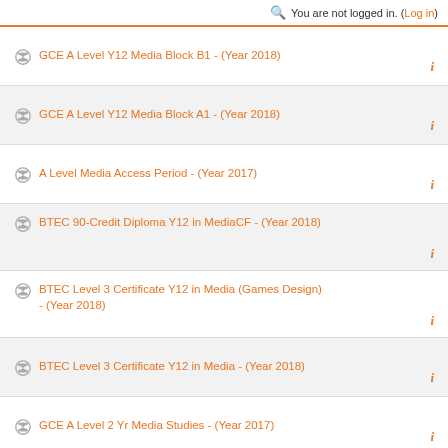You are not logged in. (Log in)
GCE A Level Y12 Media Block B1 - (Year 2018)
GCE A Level Y12 Media Block A1 - (Year 2018)
A Level Media Access Period - (Year 2017)
BTEC 90-Credit Diploma Y12 in MediaCF - (Year 2018)
BTEC Level 3 Certificate Y12 in Media (Games Design) - (Year 2018)
BTEC Level 3 Certificate Y12 in Media - (Year 2018)
GCE A Level 2 Yr Media Studies - (Year 2017)